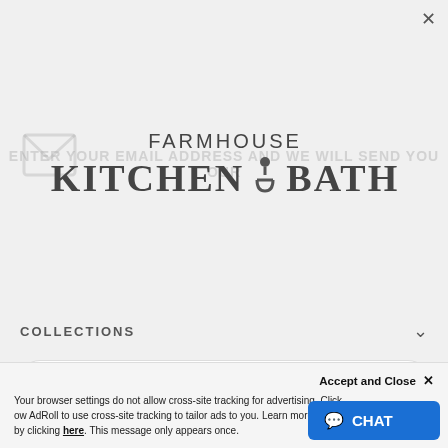[Figure (logo): Farmhouse Kitchen & Bath logo with faucet icon between KITCHEN and BATH]
Opt in and receive your discount via text!
*Exclusions Apply
By signing up via text, you agree to receive recurring automated promotional and personalized marketing text messages (e.g. cart reminders) at the cell number used when signing up. Consent is not a condition of any purchase. Reply STOP to cancel. Msg frequency varies. Msg and data rates may apply. View Terms Privacy
TAP FOR 2% OFF* >
COLLECTIONS
Accept and Close ✕
Your browser settings do not allow cross-site tracking for advertising. Click Allow to allow AdRoll to use cross-site tracking to tailor ads to you. Learn more or opt out of AdRoll tracking by clicking here. This message only appears once.
[Figure (screenshot): CHAT button]